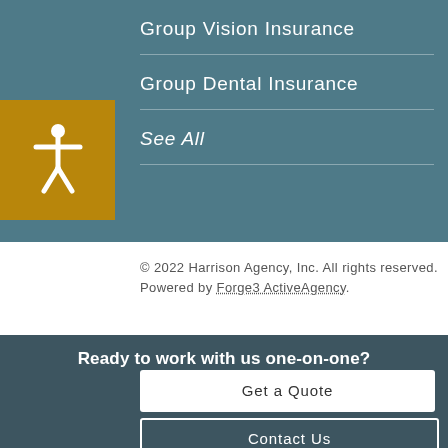Group Vision Insurance
Group Dental Insurance
See All
© 2022 Harrison Agency, Inc. All rights reserved.
Powered by Forge3 ActiveAgency.
Ready to work with us one-on-one?
Get a Quote
Contact Us